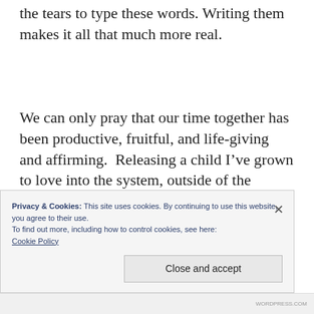the tears to type these words. Writing them makes it all that much more real.
We can only pray that our time together has been productive, fruitful, and life-giving and affirming.  Releasing a child I’ve grown to love into the system, outside of the perimeters of
Privacy & Cookies: This site uses cookies. By continuing to use this website, you agree to their use.
To find out more, including how to control cookies, see here:
Cookie Policy
Close and accept